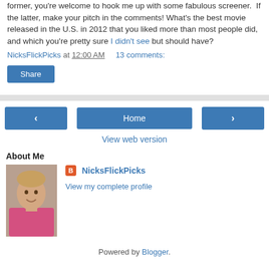former, you're welcome to hook me up with some fabulous screener.  If the latter, make your pitch in the comments! What's the best movie released in the U.S. in 2012 that you liked more than most people did, and which you're pretty sure I didn't see but should have?
NicksFlickPicks at 12:00 AM    13 comments:
Share
Home
View web version
About Me
[Figure (photo): Profile photo of NicksFlickPicks, a young man with short hair wearing a pink shirt, smiling]
NicksFlickPicks
View my complete profile
Powered by Blogger.